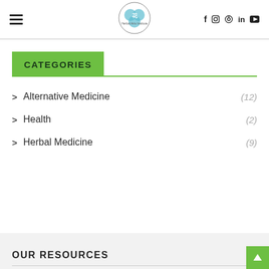Navigation header with hamburger menu, logo, and social icons (f, Instagram, Pinterest, in, YouTube)
CATEGORIES
> Alternative Medicine (12)
> Health (2)
> Herbal Medicine (9)
OUR RESOURCES